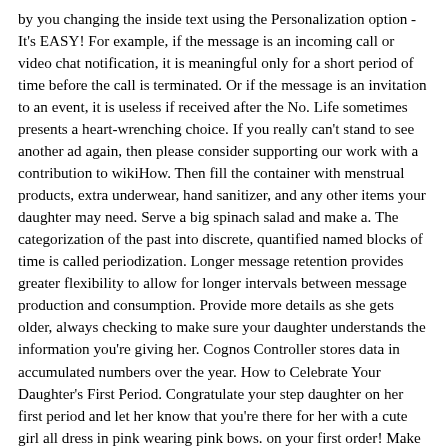by you changing the inside text using the Personalization option - It's EASY! For example, if the message is an incoming call or video chat notification, it is meaningful only for a short period of time before the call is terminated. Or if the message is an invitation to an event, it is useless if received after the No. Life sometimes presents a heart-wrenching choice. If you really can't stand to see another ad again, then please consider supporting our work with a contribution to wikiHow. Then fill the container with menstrual products, extra underwear, hand sanitizer, and any other items your daughter may need. Serve a big spinach salad and make a. The categorization of the past into discrete, quantified named blocks of time is called periodization. Longer message retention provides greater flexibility to allow for longer intervals between message production and consumption. Provide more details as she gets older, always checking to make sure your daughter understands the information you're giving her. Cognos Controller stores data in accumulated numbers over the year. How to Celebrate Your Daughter's First Period. Congratulate your step daughter on her first period and let her know that you're there for her with a cute girl all dress in pink wearing pink bows. on your first order! Make it part of a years-long conversation with your daughter about growing up, and fit the party to her personality. Client receives Grace Period Expired message for specified license key. "Love Ya, Sis". Contact me through my. Congratulations! If your daughter wants to talk to someone who's had a period, and that person isn't